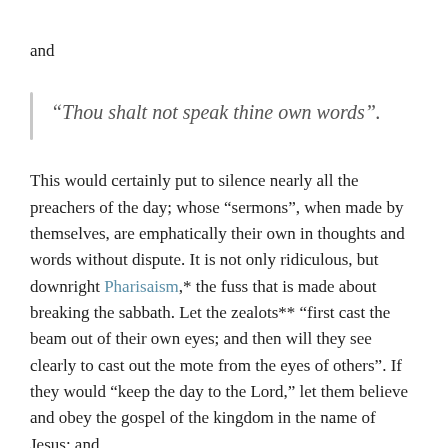and
“Thou shalt not speak thine own words”.
This would certainly put to silence nearly all the preachers of the day; whose “sermons”, when made by themselves, are emphatically their own in thoughts and words without dispute. It is not only ridiculous, but downright Pharisaism,* the fuss that is made about breaking the sabbath. Let the zealots** “first cast the beam out of their own eyes; and then will they see clearly to cast out the mote from the eyes of others”. If they would “keep the day to the Lord,” let them believe and obey the gospel of the kingdom in the name of Jesus; and